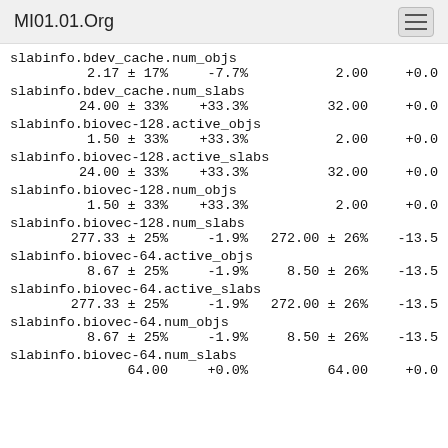MI01.01.Org
slabinfo.bdev_cache.num_objs
2.17 ± 17%       -7.7%        2.00              +0.0
slabinfo.bdev_cache.num_slabs
24.00 ± 33%      +33.3%       32.00              +0.0
slabinfo.biovec-128.active_objs
1.50 ± 33%      +33.3%        2.00              +0.0
slabinfo.biovec-128.active_slabs
24.00 ± 33%      +33.3%       32.00              +0.0
slabinfo.biovec-128.num_objs
1.50 ± 33%      +33.3%        2.00              +0.0
slabinfo.biovec-128.num_slabs
277.33 ± 25%       -1.9%   272.00 ± 26%          -13.5
slabinfo.biovec-64.active_objs
8.67 ± 25%       -1.9%     8.50 ± 26%          -13.5
slabinfo.biovec-64.active_slabs
277.33 ± 25%       -1.9%   272.00 ± 26%          -13.5
slabinfo.biovec-64.num_objs
8.67 ± 25%       -1.9%     8.50 ± 26%          -13.5
slabinfo.biovec-64.num_slabs
64.00                +0.0%        64.00              +0.0